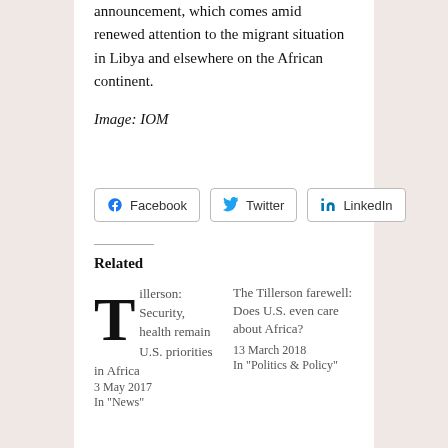announcement, which comes amid renewed attention to the migrant situation in Libya and elsewhere on the African continent.
Image: IOM
Share buttons: Facebook, Twitter, LinkedIn
Related
Tillerson: Security, health remain U.S. priorities in Africa
3 May 2017
In "News"
The Tillerson farewell: Does U.S. even care about Africa?
13 March 2018
In "Politics & Policy"